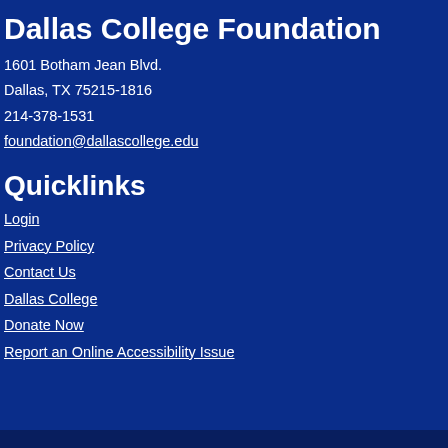Dallas College Foundation
1601 Botham Jean Blvd.
Dallas, TX 75215-1816
214-378-1531
foundation@dallascollege.edu
Quicklinks
Login
Privacy Policy
Contact Us
Dallas College
Donate Now
Report an Online Accessibility Issue